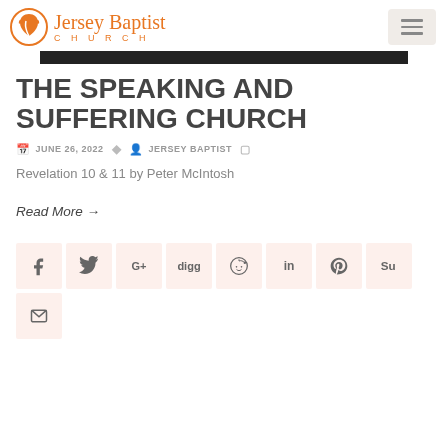Jersey Baptist Church
THE SPEAKING AND SUFFERING CHURCH
JUNE 26, 2022  JERSEY BAPTIST
Revelation 10 & 11 by Peter McIntosh
Read More →
[Figure (other): Social media sharing buttons: Facebook, Twitter, Google+, Digg, Reddit, LinkedIn, Pinterest, StumbleUpon, Email]